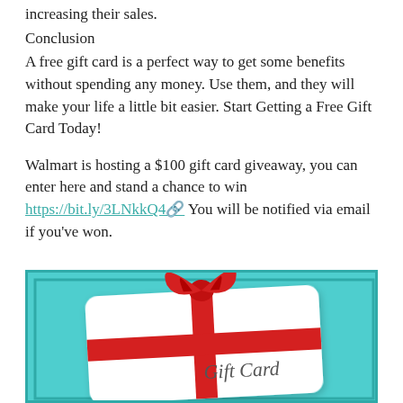increasing their sales.
Conclusion
A free gift card is a perfect way to get some benefits without spending any money. Use them, and they will make your life a little bit easier. Start Getting a Free Gift Card Today!
Walmart is hosting a $100 gift card giveaway, you can enter here and stand a chance to win https://bit.ly/3LNkkQ4 You will be notified via email if you've won.
[Figure (photo): A white gift card with a red ribbon and bow on a teal/turquoise background, with 'Gift Card' written in cursive script on the card.]